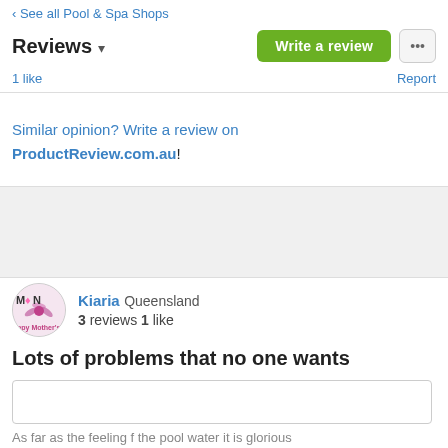‹ See all Pool & Spa Shops
Reviews ▾
1 like
Report
Similar opinion? Write a review on ProductReview.com.au!
Kiaria Queensland
3 reviews 1 like
Lots of problems that no one wants
As far as the feeling f the pool water it is glorious